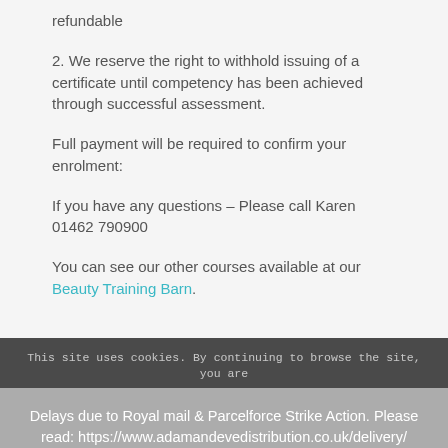refundable
2. We reserve the right to withhold issuing of a certificate until competency has been achieved through successful assessment.
Full payment will be required to confirm your enrolment:
If you have any questions – Please call Karen 01462 790900
You can see our other courses available at our Beauty Training Barn.
This site uses cookies. By continuing to browse the site, you are
Delays due to Royal mail & Parcelforce Strike Action. Please read: https://www.adamandevedistribution.co.uk/delivery/ Dismiss